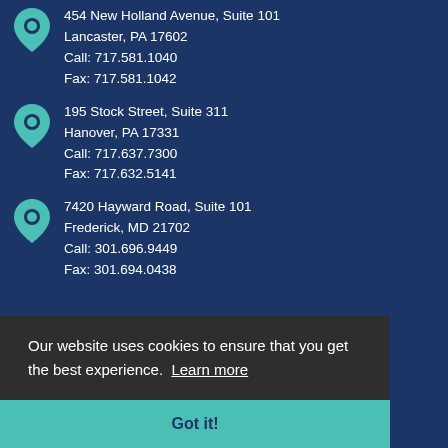454 New Holland Avenue, Suite 101
Lancaster, PA 17602
Call: 717.581.1040
Fax: 717.581.1042
195 Stock Street, Suite 311
Hanover, PA 17331
Call: 717.637.7300
Fax: 717.632.5141
7420 Hayward Road, Suite 101
Frederick, MD 21702
Call: 301.696.9449
Fax: 301.694.0438
Our website uses cookies to ensure that you get the best experience. Learn more
Got it!